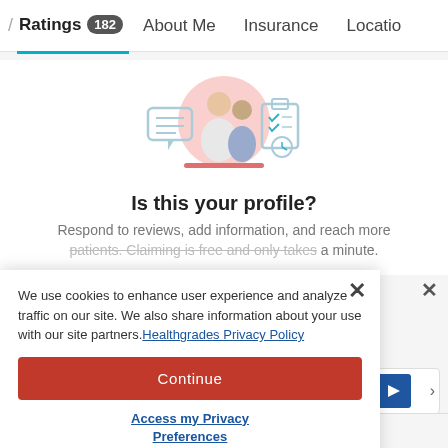/ Ratings 182  About Me  Insurance  Locatio
[Figure (illustration): Illustration of a doctor and patient sitting together with a speech bubble icon on the left and a checklist/clock icon on the right, on a pink circular background]
Is this your profile?
Respond to reviews, add information, and reach more patients. Claiming is free and only takes a minute.
We use cookies to enhance user experience and analyze traffic on our site. We also share information about your use with our site partners. Healthgrades Privacy Policy
Continue
Access my Privacy Preferences